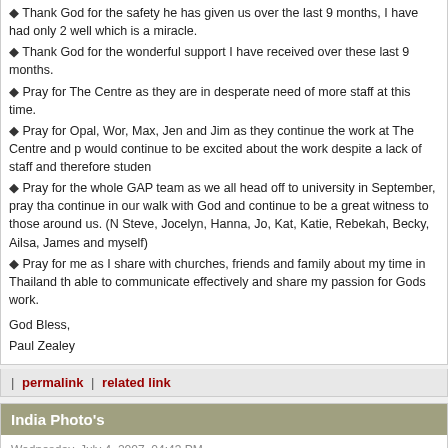Thank God for the safety he has given us over the last 9 months, I have had only 2 well which is a miracle.
Thank God for the wonderful support I have received over these last 9 months.
Pray for The Centre as they are in desperate need of more staff at this time.
Pray for Opal, Wor, Max, Jen and Jim as they continue the work at The Centre and p would continue to be excited about the work despite a lack of staff and therefore studen
Pray for the whole GAP team as we all head off to university in September, pray tha continue in our walk with God and continue to be a great witness to those around us. (N Steve, Jocelyn, Hanna, Jo, Kat, Katie, Rebekah, Becky, Ailsa, James and myself)
Pray for me as I share with churches, friends and family about my time in Thailand th able to communicate effectively and share my passion for Gods work.
God Bless,
Paul Zealey
| permalink | related link
India Photo's
Wednesday, July 4, 2007, 04:43 PM
I've only now got round to putting up India photo's, do take a look. Link to your right.
| permalink | related link
The last week!
Thursday, June 28, 2007, 01:21 PM